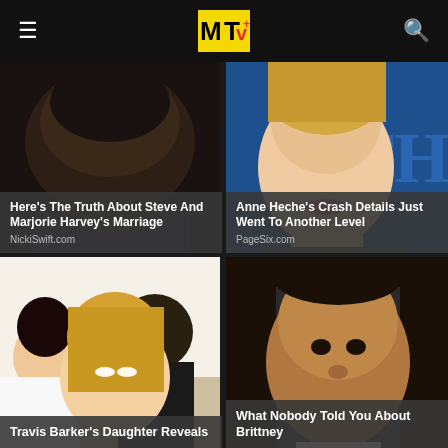MTV
[Figure (photo): Close-up of a man's face/top of head]
Here's The Truth About Steve And Marjorie Harvey's Marriage
NickiSwift.com
[Figure (photo): Woman with blonde hair, blue background with 'TH' text]
Anne Heche's Crash Details Just Went To Another Level
PageSix.com
[Figure (photo): Travis Barker's daughter with a woman and man in background]
Travis Barker's Daughter Reveals
[Figure (photo): Young woman looking at camera]
What Nobody Told You About Brittney